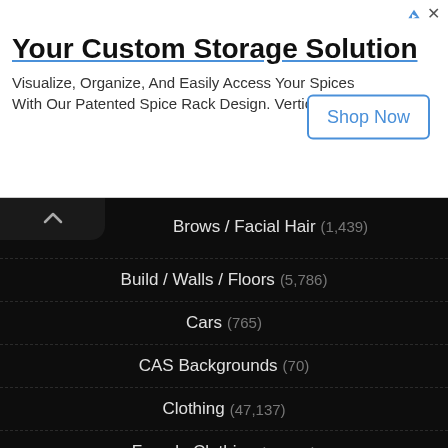[Figure (infographic): Advertisement banner: 'Your Custom Storage Solution' with 'Shop Now' button and triangle/close icons]
Your Custom Storage Solution
Visualize, Organize, And Easily Access Your Spices With Our Patented Spice Rack Design. Vertical Spice
Brows / Facial Hair (1,439)
Build / Walls / Floors (5,786)
Cars (765)
CAS Backgrounds (70)
Clothing (47,137)
Female Clothing (41,295)
Male Clothing (7,320)
Diverse (420)
Eyes (2,859)
Food (552)